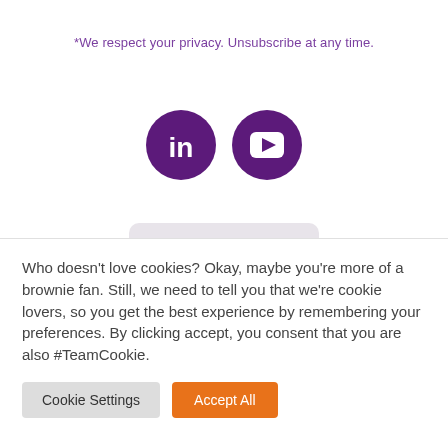*We respect your privacy. Unsubscribe at any time.
[Figure (illustration): Two circular social media icons on purple background: LinkedIn (in) and YouTube (play button), side by side]
[Figure (illustration): Partial view of a light gray card/device peeking from bottom with a purple bar at the bottom edge]
Who doesn't love cookies? Okay, maybe you're more of a brownie fan. Still, we need to tell you that we're cookie lovers, so you get the best experience by remembering your preferences. By clicking accept, you consent that you are also #TeamCookie.
Cookie Settings | Accept All